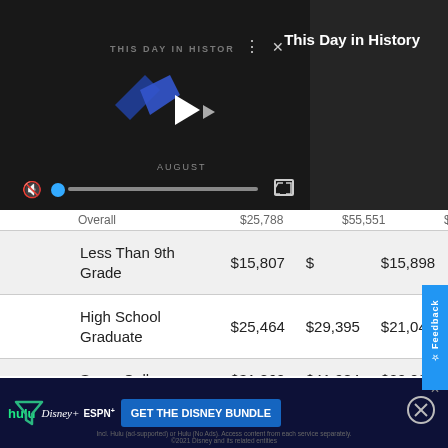[Figure (screenshot): Video player showing 'This Day in History' content with playback controls, mute icon, progress bar, and fullscreen button. Dark background with media player UI elements.]
This Day in History
|  |  |  |  |
| --- | --- | --- | --- |
| Overall | $25,788 | $55,551 | $21,718 |
| Less Than 9th Grade | $15,807 | $ | $15,898 |
| High School Graduate | $25,464 | $29,395 | $21,045 |
| Some College | $31,860 | $41,984 | $22,006 |
| Bachelors Degree | $26,836 | $35,313 | $25,326 |
[Figure (screenshot): Advertisement banner for Disney Bundle featuring Hulu, Disney+, and ESPN+ logos with 'GET THE DISNEY BUNDLE' call to action button]